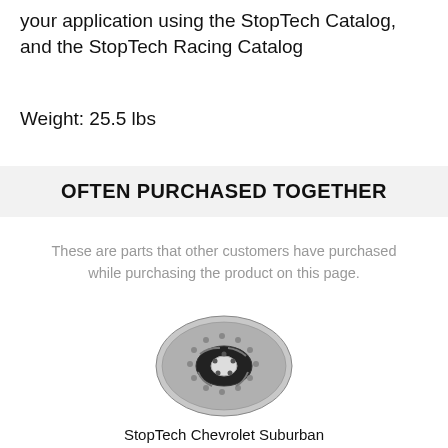your application using the StopTech Catalog, and the StopTech Racing Catalog
Weight: 25.5 lbs
OFTEN PURCHASED TOGETHER
These are parts that other customers have purchased while purchasing the product on this page.
[Figure (photo): A StopTech drilled and slotted brake rotor disc, black hub with silver vented rotor, viewed from an angle.]
StopTech Chevrolet Suburban